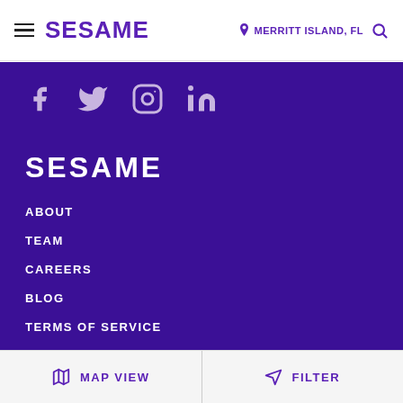SESAME | MERRITT ISLAND, FL
[Figure (other): Social media icons: Facebook, Twitter, Instagram, LinkedIn on purple background]
SESAME
ABOUT
TEAM
CAREERS
BLOG
TERMS OF SERVICE
PRIVACY POLICY
MAP VIEW | FILTER